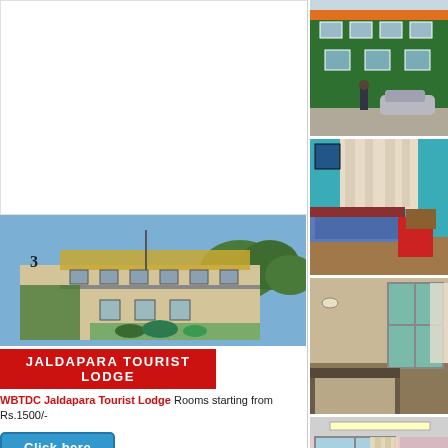[Figure (photo): White blank/placeholder area at top of left column]
[Figure (photo): Jaldapara Tourist Lodge building exterior photo - two-storey building with green roof, balcony, murals]
JALDAPARA TOURIST LODGE
WBTDC Jaldapara Tourist Lodge Rooms starting from Rs.1500/-
Click here
[Figure (photo): Green building exterior with car parked outside - right column top photo]
[Figure (photo): Hotel room interior with blue walls, curtains, bed and red chair]
[Figure (photo): Hotel room interior with window and bed - pink/beige walls]
[Figure (photo): Room interior with window showing curtains - partial view]